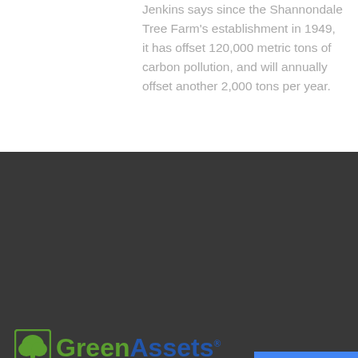Jenkins says since the Shannondale Tree Farm's establishment in 1949, it has offset 120,000 metric tons of carbon pollution, and will annually offset another 2,000 tons per year.
[Figure (logo): GreenAssets logo with green tree icon in a square frame, 'Green' in green bold text and 'Assets' in blue bold text with trademark symbol]
We design and implement carbon offset projects and other conservation initiatives that meaningfully address today's environmental challenges.
CONTACT INFO
Wilmington